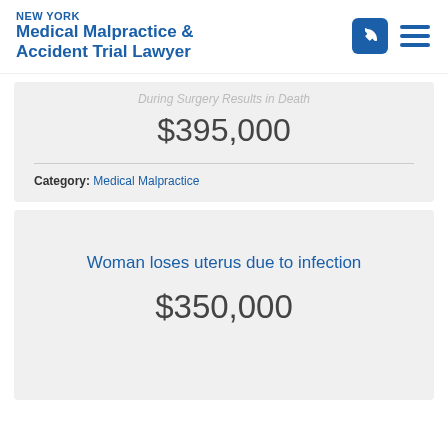NEW YORK Medical Malpractice & Accident Trial Lawyer
During Surgery Results in Death
$395,000
Category: Medical Malpractice
Woman loses uterus due to infection
$350,000